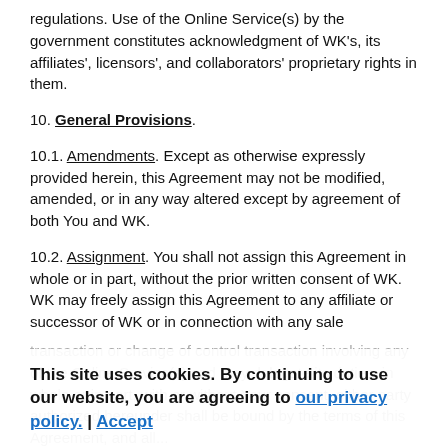regulations. Use of the Online Service(s) by the government constitutes acknowledgment of WK's, its affiliates', licensors', and collaborators' proprietary rights in them.
10. General Provisions.
10.1. Amendments. Except as otherwise expressly provided herein, this Agreement may not be modified, amended, or in any way altered except by agreement of both You and WK.
10.2. Assignment. You shall not assign this Agreement in whole or in part, without the prior written consent of WK. WK may freely assign this Agreement to any affiliate or successor of WK or in connection with any sale
transaction or change of control transaction involving any of the Online Service(s) and may delegate its duties, in whole or in part, with or without Your consent. either party authorized hereunder shall be bound by the terms of this Agreement, and all...
This site uses cookies. By continuing to use our website, you are agreeing to our privacy policy. | Accept